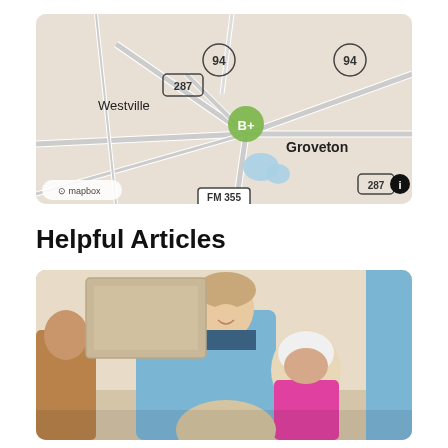[Figure (map): Map showing Groveton area with roads including highway 94, FM 287, FM 355. A green marker labeled B+ is shown near Groveton. Westville is labeled to the left. Mapbox attribution shown at bottom left.]
Helpful Articles
[Figure (photo): A nurse in blue scrubs smiling and leaning toward elderly patients. An older woman in a pink shirt smiles back. Other people visible in background.]